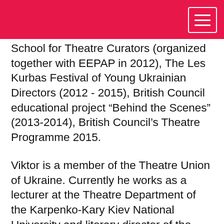School for Theatre Curators (organized together with EEPAP in 2012), The Les Kurbas Festival of Young Ukrainian Directors (2012 - 2015), British Council educational project “Behind the Scenes” (2013-2014), British Council’s Theatre Programme 2015.
Viktor is a member of the Theatre Union of Ukraine. Currently he works as a lecturer at the Theatre Department of the Karpenko-Kary Kiev National University and literary director of the “Zoloti Vorota” theatre in Kiev. He is a co-founder and a Deputy Chairman of the Board of the independent organization “Theatre Platform” (“Театральна платформа”).